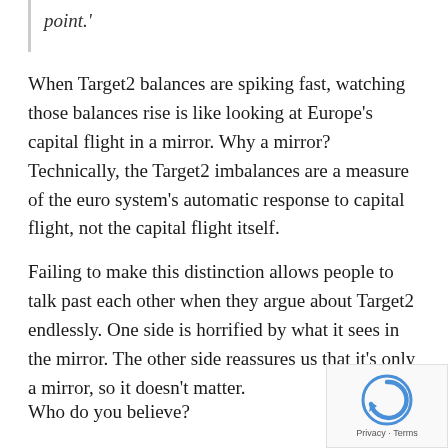point.'
When Target2 balances are spiking fast, watching those balances rise is like looking at Europe's capital flight in a mirror. Why a mirror? Technically, the Target2 imbalances are a measure of the euro system's automatic response to capital flight, not the capital flight itself.
Failing to make this distinction allows people to talk past each other when they argue about Target2 endlessly. One side is horrified by what it sees in the mirror. The other side reassures us that it's only a mirror, so it doesn't matter.
Who do you believe?
[Figure (logo): reCAPTCHA logo with Privacy and Terms links]